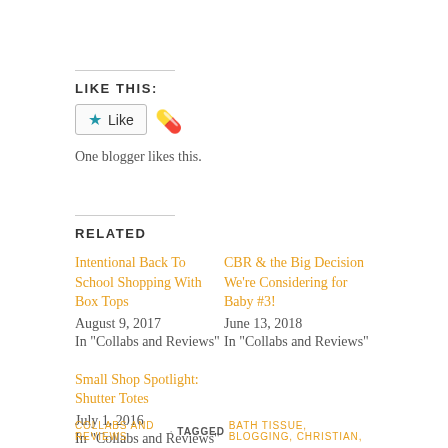LIKE THIS:
[Figure (other): WordPress Like button with star icon and lips emoji avatar, showing one blogger likes this.]
One blogger likes this.
RELATED
Intentional Back To School Shopping With Box Tops
August 9, 2017
In "Collabs and Reviews"
CBR & the Big Decision We're Considering for Baby #3!
June 13, 2018
In "Collabs and Reviews"
Small Shop Spotlight: Shutter Totes
July 1, 2016
In "Collabs and Reviews"
COLLABS AND REVIEWS · TAGGED BATH TISSUE, BLOGGING, CHRISTIAN,